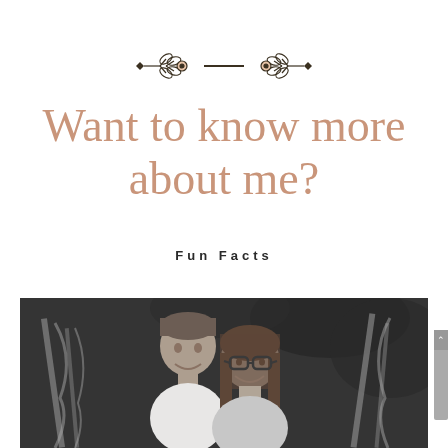[Figure (illustration): Decorative divider with leaf/branch ornaments and a dash in the center, dark olive/brown color]
Want to know more about me?
Fun Facts
[Figure (photo): Black and white photograph of a smiling couple, man on the left with short hair and woman on the right wearing glasses, outdoors with foliage in the background]